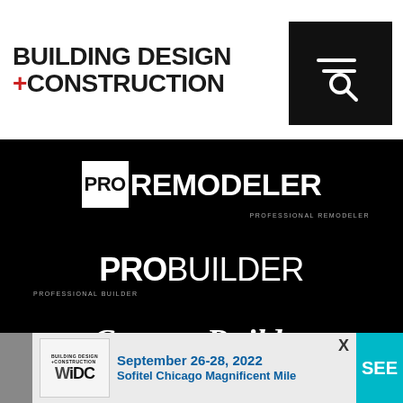[Figure (logo): Building Design + Construction logo with search icon in black box]
[Figure (logo): PRO REMODELER (Professional Remodeler) logo on black background]
[Figure (logo): PROBUILDER (Professional Builder) logo on black background]
[Figure (logo): Custom Builder logo in italic serif font on black background]
[Figure (logo): PRODUCTS for Residential Construction Professionals logo on black background]
[Figure (infographic): Bottom popup banner: Building Design + Construction WiDC event - September 26-28, 2022, Sofitel Chicago Magnificent Mile. SEE button on right.]